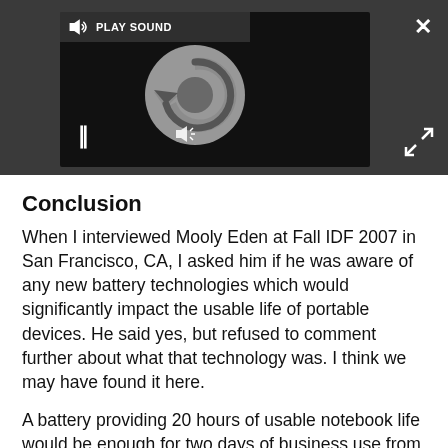[Figure (screenshot): A video player embedded in a dark gray bar. Shows a loading/buffering spinner (circular arrow icon) on a black background. A 'PLAY SOUND' label with speaker icon appears at top-left of the player. Pause button (||) at bottom-left of player. Close (X) button at top-right of page. Expand arrows icon at bottom-right of page.]
Conclusion
When I interviewed Mooly Eden at Fall IDF 2007 in San Francisco, CA, I asked him if he was aware of any new battery technologies which would significantly impact the usable life of portable devices. He said yes, but refused to comment further about what that technology was. I think we may have found it here.
A battery providing 20 hours of usable notebook life would be enough for two days of business use from 8am - 5pm. It would be enough to watch 6 to 7 movies during a long flight, or continue to shop for...